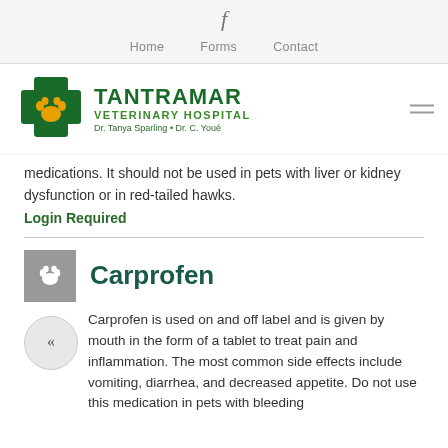f  Home  Forms  Contact
[Figure (logo): Tantramar Veterinary Hospital logo with green cross and paw print. Dr. Tanya Sparling • Dr. C. Youé]
medications. It should not be used in pets with liver or kidney dysfunction or in red-tailed hawks.
Login Required
Carprofen
Carprofen is used on and off label and is given by mouth in the form of a tablet to treat pain and inflammation. The most common side effects include vomiting, diarrhea, and decreased appetite. Do not use this medication in pets with bleeding